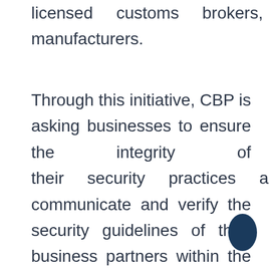licensed customs brokers, and manufacturers.
Through this initiative, CBP is asking businesses to ensure the integrity of their security practices and communicate and verify the security guidelines of their business partners within the supply chain. A third party C-TPAT audit will ensure the security of your supply chain, verify your compliance, and improve U.S. border security.
[Figure (illustration): Dark navy blue oval/ellipse decorative element in the bottom right corner]